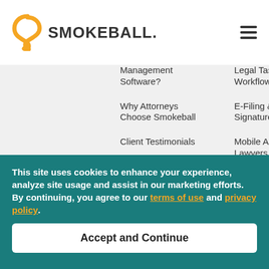Smokeball
Management Software?
Why Attorneys Choose Smokeball
Client Testimonials
Smokeball Reviews
Security
Legal Tasks & Workflows
E-Filing & Electronic Signatures
Mobile App for Lawyers
Automated Legal Forms Library
Legal Case Management
Email Management
This site uses cookies to enhance your experience, analyze site usage and assist in our marketing efforts. By continuing, you agree to our terms of use and privacy policy.
Accept and Continue